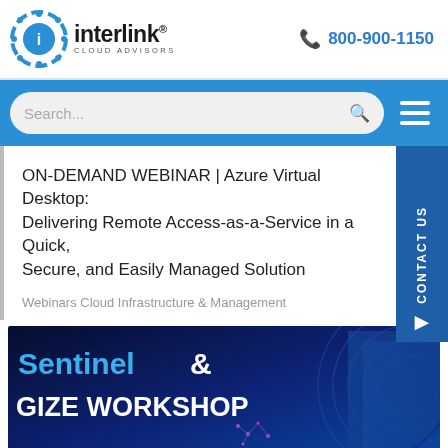interlink CLOUD ADVISORS | 800-900-1150
Search...
ON-DEMAND WEBINAR | Azure Virtual Desktop: Delivering Remote Access-as-a-Service in a Quick, Secure, and Easily Managed Solution
Webinars Cloud Infrastructure & Management
[Figure (illustration): Dark blue promotional banner for Sentinel & Modernize Workshop with cybersecurity imagery including shield and circuit patterns]